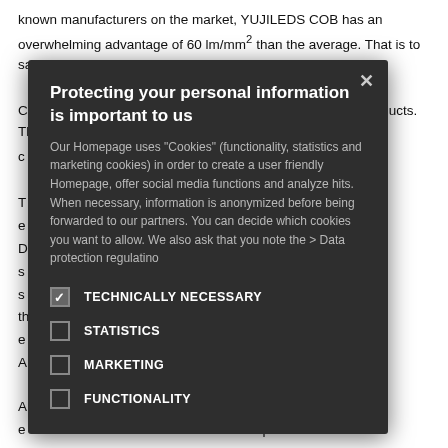known manufacturers on the market, YUJILEDS COB has an overwhelming advantage of 60 lm/mm² than the average. That is to say, when emitting the same amount of luminous flux, YUJILEDS COB products. That c...
To structure and e High Lumen D d directly onto the s d directly to the s eased. Second, th at transfer e s two times that of A e.
A YUJILEDS COB e the chip to the s oduct. Our full p color te ge decay of the e otal lifespan (L70) is
From LED using th...bl...t...d...digitl...tion
[Figure (screenshot): Cookie consent modal dialog with dark background. Title: 'Protecting your personal information is important to us'. Body text about cookies. Four options: TECHNICALLY NECESSARY (checked), STATISTICS (unchecked), MARKETING (unchecked), FUNCTIONALITY (unchecked). Close button (X) in top right.]